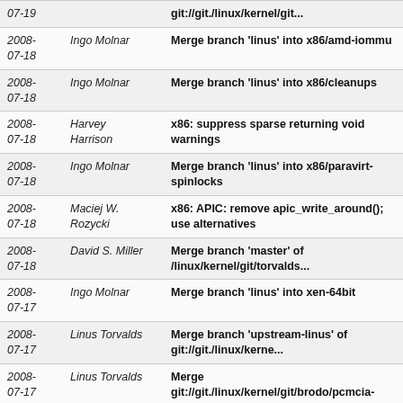| Date | Author | Commit |
| --- | --- | --- |
| 2008-07-19 |  | git://git./linux/kernel/git... |
| 2008-07-18 | Ingo Molnar | Merge branch 'linus' into x86/amd-iommu |
| 2008-07-18 | Ingo Molnar | Merge branch 'linus' into x86/cleanups |
| 2008-07-18 | Harvey Harrison | x86: suppress sparse returning void warnings |
| 2008-07-18 | Ingo Molnar | Merge branch 'linus' into x86/paravirt-spinlocks |
| 2008-07-18 | Maciej W. Rozycki | x86: APIC: remove apic_write_around(); use alternatives |
| 2008-07-18 | David S. Miller | Merge branch 'master' of /linux/kernel/git/torvalds... |
| 2008-07-17 | Ingo Molnar | Merge branch 'linus' into xen-64bit |
| 2008-07-17 | Linus Torvalds | Merge branch 'upstream-linus' of git://git./linux/kerne... |
| 2008-07-17 | Linus Torvalds | Merge git://git./linux/kernel/git/brodo/pcmcia-fixes-2.6 |
| 2008-07-17 | Tony Luck | Pull pvops into release branch |